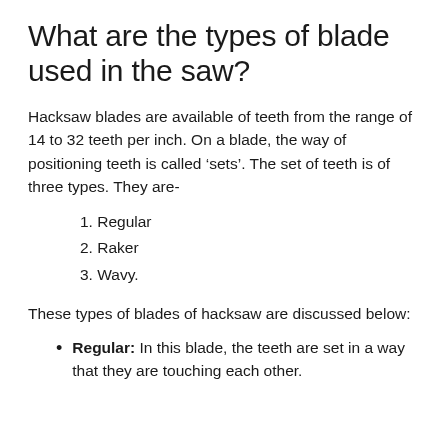What are the types of blade used in the saw?
Hacksaw blades are available of teeth from the range of 14 to 32 teeth per inch. On a blade, the way of positioning teeth is called ‘sets’. The set of teeth is of three types. They are-
1. Regular
2. Raker
3. Wavy.
These types of blades of hacksaw are discussed below:
Regular: In this blade, the teeth are set in a way that they are touching each other.